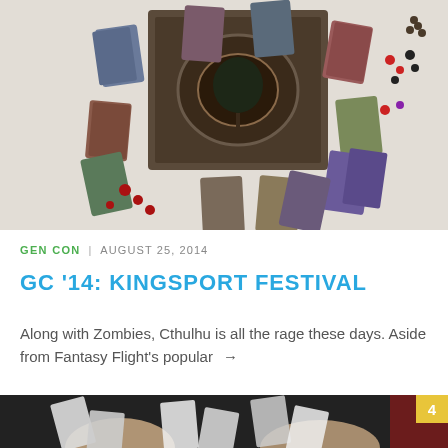[Figure (photo): Top-down view of a Kingsport Festival board game spread out with cards, tokens, and game pieces scattered around the central board]
GEN CON | AUGUST 25, 2014
GC '14: KINGSPORT FESTIVAL
Along with Zombies, Cthulhu is all the rage these days. Aside from Fantasy Flight's popular →
[Figure (photo): Hands playing a card game on a dark table at Gen Con, with cards spread out and a number 4 badge in the top right corner]